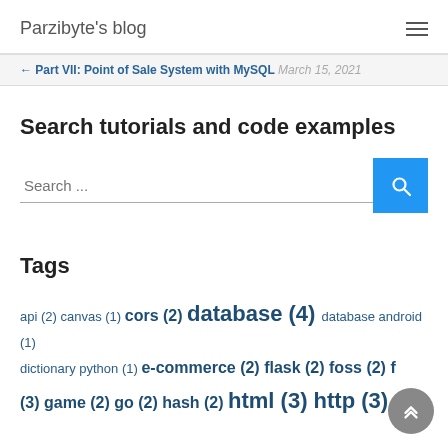Parzibyte's blog
← Part VII: Point of Sale System with MySQL  March 15, 2021
Search tutorials and code examples
Search ...
Tags
api (2) canvas (1) cors (2) database (4) database android (1) dictionary python (1) e-commerce (2) flask (2) foss (2) f… (3) game (2) go (2) hash (2) html (3) http (3)